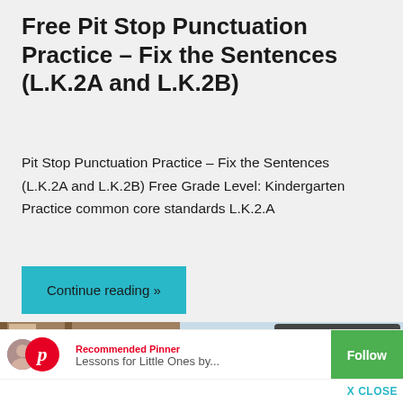Free Pit Stop Punctuation Practice – Fix the Sentences (L.K.2A and L.K.2B)
Pit Stop Punctuation Practice – Fix the Sentences (L.K.2A and L.K.2B) Free Grade Level: Kindergarten Practice common core standards L.K.2.A
Continue reading »
[Figure (screenshot): Partial view of educational worksheet showing bee illustration and handwriting practice sheet, with Pinterest 'Recommended Pinner' overlay showing 'Lessons for Little Ones by...' with Follow button and image collage strip, and X CLOSE button at bottom right]
Recommended Pinner
Lessons for Little Ones by...
Follow
X CLOSE